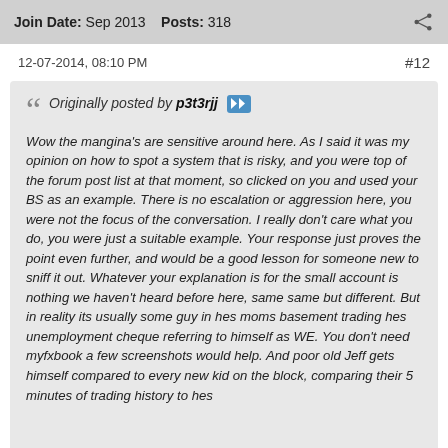Join Date: Sep 2013   Posts: 318
12-07-2014, 08:10 PM   #12
Originally posted by p3t3rjj
Wow the mangina's are sensitive around here. As I said it was my opinion on how to spot a system that is risky, and you were top of the forum post list at that moment, so clicked on you and used your BS as an example. There is no escalation or aggression here, you were not the focus of the conversation. I really don't care what you do, you were just a suitable example. Your response just proves the point even further, and would be a good lesson for someone new to sniff it out. Whatever your explanation is for the small account is nothing we haven't heard before here, same same but different. But in reality its usually some guy in hes moms basement trading hes unemployment cheque referring to himself as WE. You don't need myfxbook a few screenshots would help. And poor old Jeff gets himself compared to every new kid on the block, comparing their 5 minutes of trading history to hes